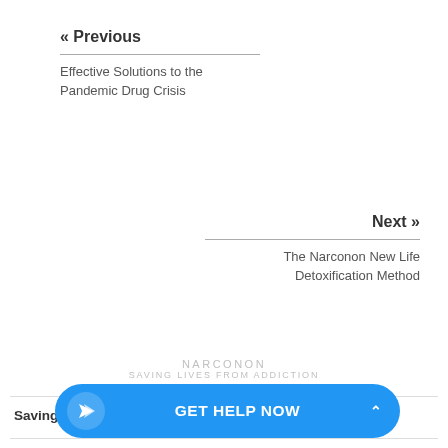« Previous
Effective Solutions to the Pandemic Drug Crisis
Next »
The Narconon New Life Detoxification Method
NARCONON
SAVING LIVES FROM ADDICTION
Saving Lives Through Drug Rehabilitation & Prevention
Effective Solutions to the Pandemic Drug Crisis
Narconon Inte... Programme
The Narconon New Life Detoxification
GET HELP NOW